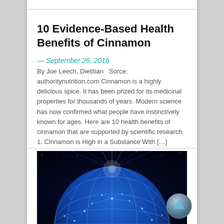10 Evidence-Based Health Benefits of Cinnamon
— September 26, 2016
By Joe Leech, Dietitian   Sorce: authoritynutrition.com Cinnamon is a highly delicious spice. It has been prized for its medicinal properties for thousands of years. Modern science has now confirmed what people have instinctively known for ages. Here are 10 health benefits of cinnamon that are supported by scientific research. 1. Cinnamon is High in a Substance With […]
[Figure (illustration): A glowing digital globe with blue network connections and light rays against a dark space background]